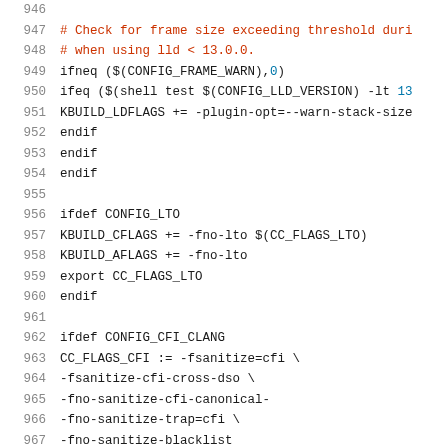Source code listing, lines 946-967, Makefile with LTO and CFI configuration
946
947  # Check for frame size exceeding threshold duri
948  # when using lld < 13.0.0.
949  ifneq ($(CONFIG_FRAME_WARN),0)
950  ifeq ($(shell test $(CONFIG_LLD_VERSION) -lt 13
951  KBUILD_LDFLAGS += -plugin-opt=--warn-stack-size
952  endif
953  endif
954  endif
955
956  ifdef CONFIG_LTO
957  KBUILD_CFLAGS += -fno-lto $(CC_FLAGS_LTO)
958  KBUILD_AFLAGS += -fno-lto
959  export CC_FLAGS_LTO
960  endif
961
962  ifdef CONFIG_CFI_CLANG
963  CC_FLAGS_CFI := -fsanitize=cfi \
964               -fsanitize-cfi-cross-dso \
965               -fno-sanitize-cfi-canonical-
966               -fno-sanitize-trap=cfi \
967               -fno-sanitize-blacklist